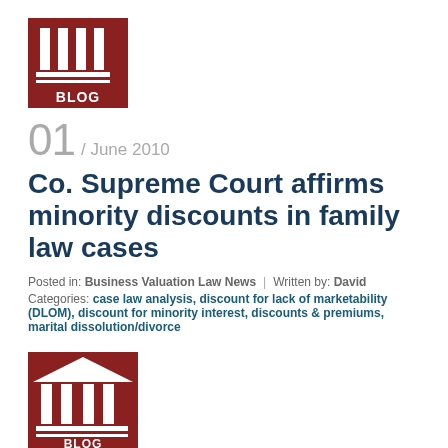[Figure (logo): Building/courthouse logo with 'BLOG' text on dark red background]
01 / June 2010
Co. Supreme Court affirms minority discounts in family law cases
Posted in: Business Valuation Law News | Written by: David
Categories: case law analysis, discount for lack of marketability (DLOM), discount for minority interest, discounts & premiums, marital dissolution/divorce
[Figure (logo): Building/courthouse logo with 'BLOG' text on dark red background]
24 / May 2010